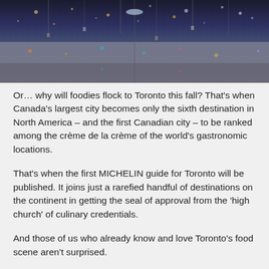[Figure (photo): Aerial or artistic cityscape photo with lights and reflections, showing an urban scene at dusk or night, with bokeh lights and what appears to be a reflected skyline or installation art.]
Or… why will foodies flock to Toronto this fall? That's when Canada's largest city becomes only the sixth destination in North America – and the first Canadian city – to be ranked among the crème de la crème of the world's gastronomic locations.
That's when the first MICHELIN guide for Toronto will be published. It joins just a rarefied handful of destinations on the continent in getting the seal of approval from the 'high church' of culinary credentials.
And those of us who already know and love Toronto's food scene aren't surprised.